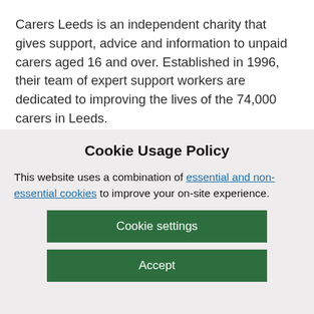Carers Leeds is an independent charity that gives support, advice and information to unpaid carers aged 16 and over. Established in 1996, their team of expert support workers are dedicated to improving the lives of the 74,000 carers in Leeds.
They deliver confidential one to one and group
Cookie Usage Policy
This website uses a combination of essential and non-essential cookies to improve your on-site experience.
Cookie settings
Accept